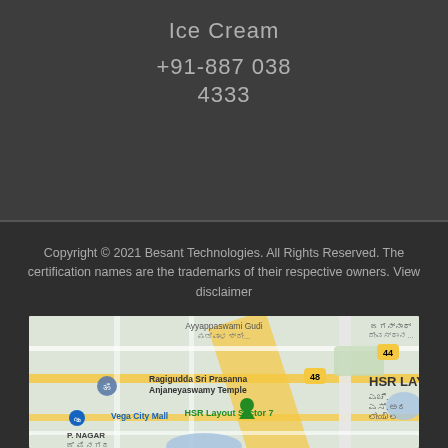Ice Cream
+91-887 038
4333
Copyright © 2021 Besant Technologies. All Rights Reserved. The certification names are the trademarks of their respective owners. View disclaimer
[Figure (map): Google Map showing HSR Layout area in Bangalore, India, with landmarks including Ragigudda Sri Prasanna Anjaneyaswamy Temple, Vega City Mall, HSR Layout Sector 7, P. Nagar, Bommanahalli, and Ayyappaswamy Gudi. Roads marked with route numbers 44 and 48.]